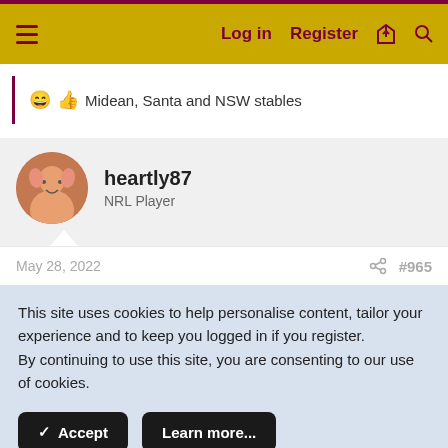Log in  Register
😄👍 Midean, Santa and NSW stables
heartly87
NRL Player
May 28, 2022  #965
This site uses cookies to help personalise content, tailor your experience and to keep you logged in if you register.
By continuing to use this site, you are consenting to our use of cookies.